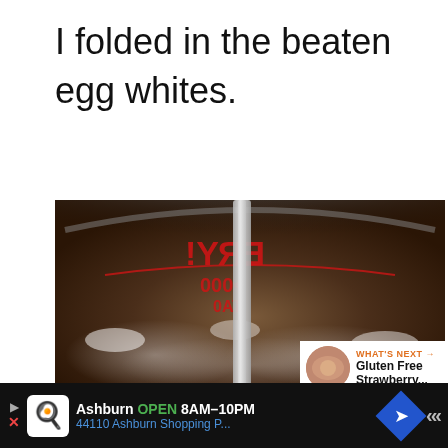I folded in the beaten egg whites.
[Figure (photo): Close-up photo of a mixing bowl with beaten egg whites being folded in, with a spatula visible. Red text lettering visible on the bowl (mirror-reversed). Social media sharing buttons visible on the right side: Facebook (f), Pinterest (p), heart/like with count 31, and share button. 'What's Next' overlay showing 'Gluten Free Strawberry...' thumbnail.]
WHAT'S NEXT → Gluten Free Strawberry...
Ashburn OPEN 8AM–10PM 44110 Ashburn Shopping P...